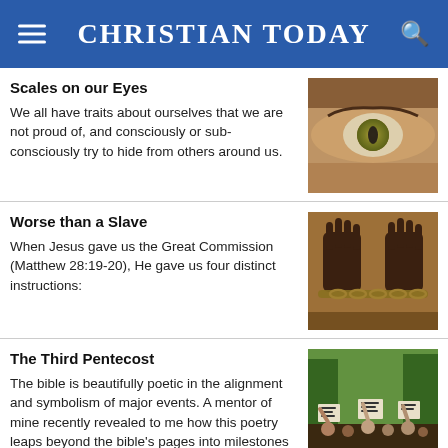CHRISTIAN TODAY
Scales on our Eyes
We all have traits about ourselves that we are not proud of, and consciously or sub-consciously try to hide from others around us.
[Figure (photo): Close-up photo of an eye with a reptile-like green and gold iris]
Worse than a Slave
When Jesus gave us the Great Commission (Matthew 28:19-20), He gave us four distinct instructions:
[Figure (photo): Photo of dark-skinned hands raised upward, with chains around the wrists]
The Third Pentecost
The bible is beautifully poetic in the alignment and symbolism of major events. A mentor of mine recently revealed to me how this poetry leaps beyond the bible's pages into milestones in our lives today.
[Figure (photo): Photo of a crowd of people holding protest signs, including signs reading 'Justice' and 'BLM']